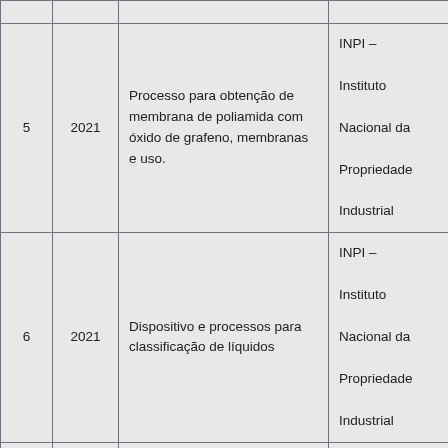| # | Ano | Descrição | Órgão |
| --- | --- | --- | --- |
| 5 | 2021 | Processo para obtenção de membrana de poliamida com óxido de grafeno, membranas e uso. | INPI – Instituto Nacional da Propriedade Industrial |
| 6 | 2021 | Dispositivo e processos para classificação de líquidos | INPI – Instituto Nacional da Propriedade Industrial |
| 7 | 2021 | Dinamômetro de mordida com ponta articulada | INPI – Instituto Nacional da Propriedade Industrial |